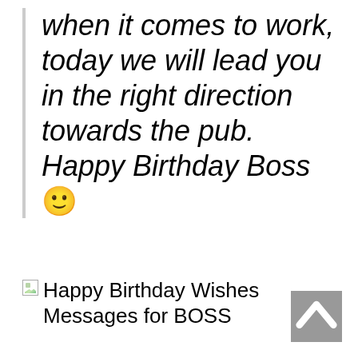when it comes to work, today we will lead you in the right direction towards the pub. Happy Birthday Boss 🙂
[Figure (illustration): Broken image placeholder with alt text: Happy Birthday Wishes Messages for BOSS]